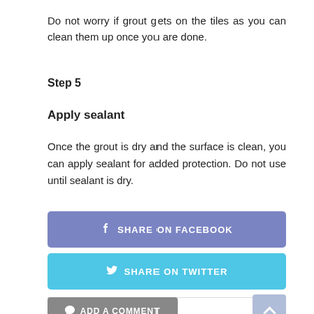Do not worry if grout gets on the tiles as you can clean them up once you are done.
Step 5
Apply sealant
Once the grout is dry and the surface is clean, you can apply sealant for added protection. Do not use until sealant is dry.
[Figure (other): Share on Facebook button (purple/blue background, white text with Facebook icon)]
[Figure (other): Share on Twitter button (light blue background, white text with Twitter bird icon)]
[Figure (other): Add a Comment button (grey background, white text with speech bubble icon) and scroll-to-top arrow button (light blue-grey)]